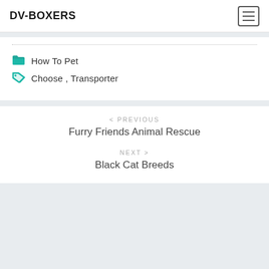DV-BOXERS
How To Pet
Choose, Transporter
< PREVIOUS
Furry Friends Animal Rescue
NEXT >
Black Cat Breeds